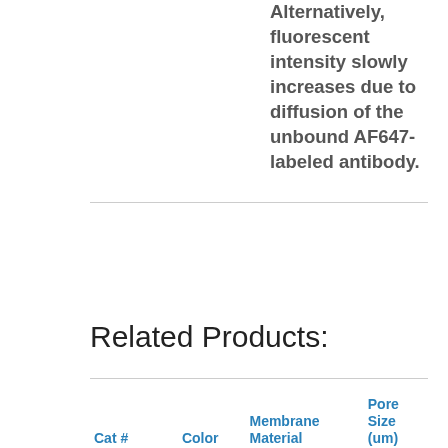Alternatively, fluorescent intensity slowly increases due to diffusion of the unbound AF647-labeled antibody.
Related Products:
| Cat # | Color | Membrane Material | Pore Size (um) |
| --- | --- | --- | --- |
| BGF27B | Black | Borosilicate | 2.7 |